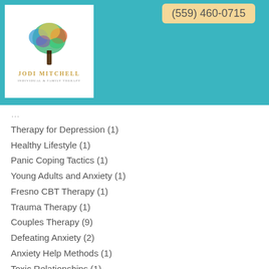[Figure (logo): Jodi Mitchell therapist logo with colorful tree illustration and name text]
(559) 460-0715
Therapy for Depression (1)
Healthy Lifestyle (1)
Panic Coping Tactics (1)
Young Adults and Anxiety (1)
Fresno CBT Therapy (1)
Trauma Therapy (1)
Couples Therapy (9)
Defeating Anxiety (2)
Anxiety Help Methods (1)
Toxic Relationships (1)
Move Forward (1)
Depression Counselor (6)
Cognitive Behavioral Therapy Exercises (1)
Bankruptcy (1)
CBT Benefits (1)
Anxiety in Kids (1)
Depression Tips (1)
Therapy (1)